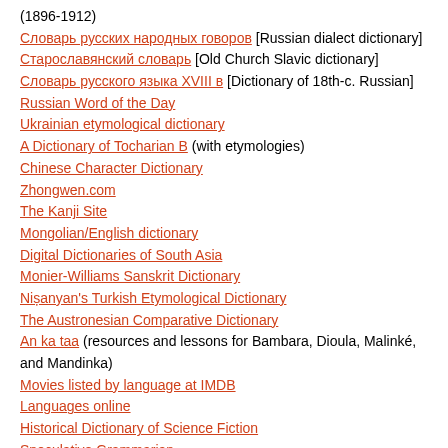(1896-1912)
Словарь русских народных говоров [Russian dialect dictionary]
Старославянский словарь [Old Church Slavic dictionary]
Словарь русского языка XVIII в [Dictionary of 18th-c. Russian]
Russian Word of the Day
Ukrainian etymological dictionary
A Dictionary of Tocharian B (with etymologies)
Chinese Character Dictionary
Zhongwen.com
The Kanji Site
Mongolian/English dictionary
Digital Dictionaries of South Asia
Monier-Williams Sanskrit Dictionary
Nișanyan's Turkish Etymological Dictionary
The Austronesian Comparative Dictionary
An ka taa (resources and lessons for Bambara, Dioula, Malinké, and Mandinka)
Movies listed by language at IMDB
Languages online
Historical Dictionary of Science Fiction
Speculative Grammarian